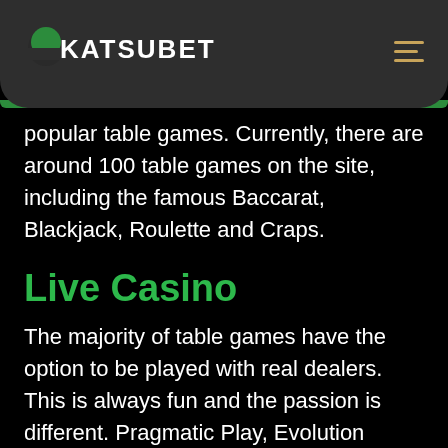[Figure (logo): KatsuBet logo with green semicircle icon and white uppercase text on dark gray rounded header bar, with hamburger menu icon in gold on the right]
popular table games. Currently, there are around 100 table games on the site, including the famous Baccarat, Blackjack, Roulette and Craps.
Live Casino
The majority of table games have the option to be played with real dealers. This is always fun and the passion is different. Pragmatic Play, Evolution Gaming and Authentic are only a few gaming suppliers who are providing the quality games in this section. Some of the very